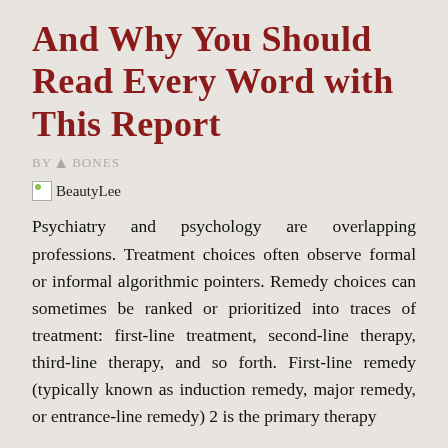And Why You Should Read Every Word with This Report
BY BONES
[Figure (photo): BeautyLee image placeholder]
Psychiatry and psychology are overlapping professions. Treatment choices often observe formal or informal algorithmic pointers. Remedy choices can sometimes be ranked or prioritized into traces of treatment: first-line treatment, second-line therapy, third-line therapy, and so forth. First-line remedy (typically known as induction remedy, major remedy, or entrance-line remedy) 2 is the primary therapy